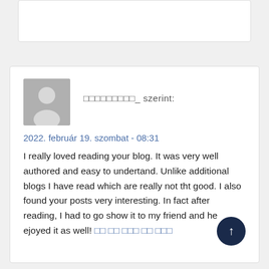□□□□□□□□□_ szerint:
2022. február 19. szombat - 08:31
I really loved reading your blog. It was very well authored and easy to undertand. Unlike additional blogs I have read which are really not tht good. I also found your posts very interesting. In fact after reading, I had to go show it to my friend and he ejoyed it as well! □□ □□ □□□ □□ □□□